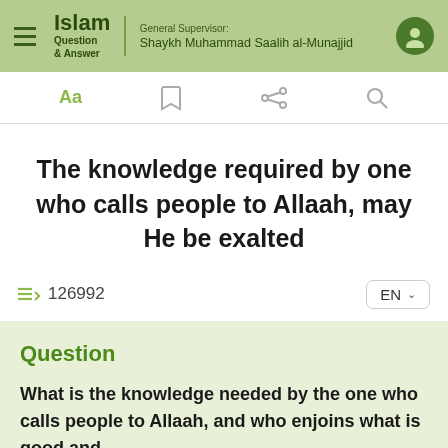Islam Question & Answer | General Supervisor: Shaykh Muhammad Saalih al-Munajjid
The knowledge required by one who calls people to Allaah, may He be exalted
126992
Question
What is the knowledge needed by the one who calls people to Allaah, and who enjoins what is good and